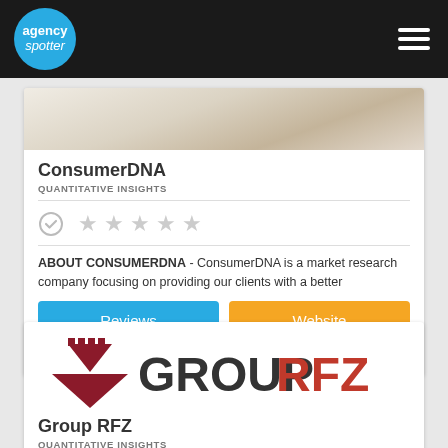[Figure (logo): Agency Spotter logo in blue circle with white text on black navigation bar]
[Figure (photo): ConsumerDNA banner image showing food/dining scene]
ConsumerDNA
QUANTITATIVE INSIGHTS
[Figure (other): Verified checkmark icon and 5 empty grey stars rating]
ABOUT CONSUMERDNA - ConsumerDNA is a market research company focusing on providing our clients with a better
Reviews
Website
< 10 Staff
Richardson
[Figure (logo): Group RFZ logo - dark red triangle/arrow shape with GROUPRFZ text, RFZ in red]
Group RFZ
QUANTITATIVE INSIGHTS